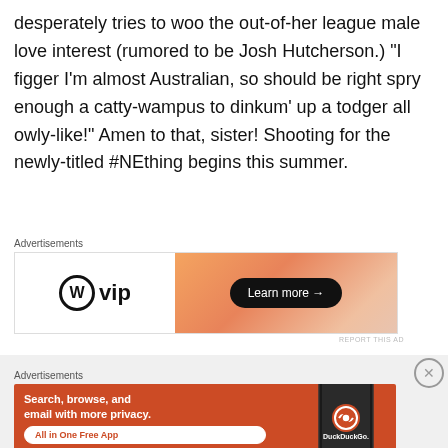desperately tries to woo the out-of-her league male love interest (rumored to be Josh Hutcherson.)  “I figger I’m almost Australian, so should be right spry enough a catty-wampus to dinkum’ up a todger all owly-like!”  Amen to that, sister!  Shooting for the newly-titled #NEthing begins this summer.
[Figure (other): WordPress VIP advertisement banner with Learn more button]
[Figure (other): DuckDuckGo advertisement: Search, browse, and email with more privacy. All in One Free App.]